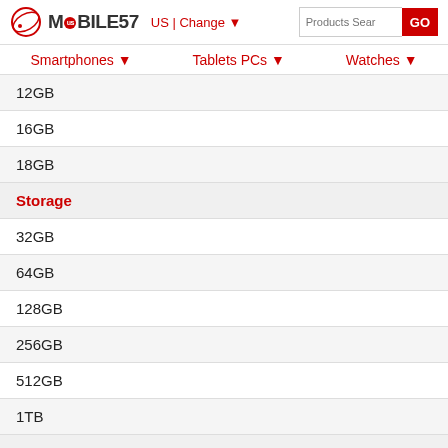MOBILE57 US | Change ▼
Smartphones ▼
Tablets PCs ▼
Watches ▼
12GB
16GB
18GB
Storage
32GB
64GB
128GB
256GB
512GB
1TB
OS
Android 10 Q
IOS